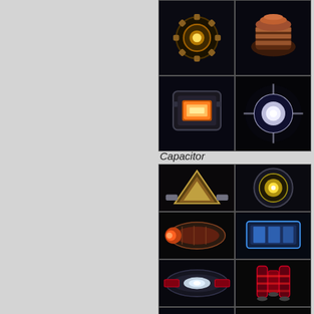[Figure (illustration): 2x2 grid of sci-fi game item icons on dark background, partially visible at top of page. Shows 4 items: glowing gold orb component, copper/metal layered item, orange glowing box/module, bright white energy orb.]
Capacitor
[Figure (illustration): 2x4 grid of sci-fi game capacitor item icons on dark background. Items include: gold triangular capacitor, yellow glowing circular capacitor, red/orange torpedo capacitor, blue rectangular capacitor, glowing white lens capacitor, red cylindrical battery pack, blue glowing disc capacitor, twin silver dome capacitors.]
Shield
[Figure (illustration): 2x2 grid of sci-fi game shield item icons on dark background, partially visible at bottom. Items include: dark angular shield plate, silver wedge shield, silver ribbed shield plate, triangular silver shield.]